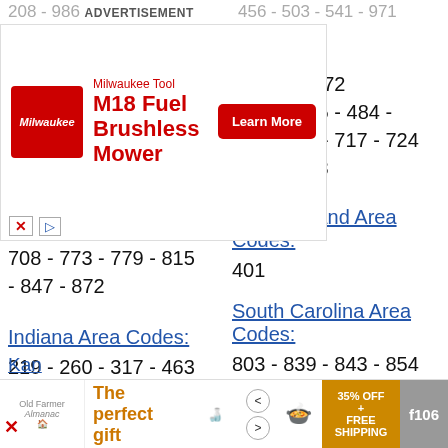208 - 986
ADVERTISEMENT
456 - 503 - 541 - 971
[Figure (infographic): Milwaukee Tool M18 Fuel Brushless Mower advertisement banner with red logo, red text, and Learn More button]
vania Area
3 - 267 - 272
- 412 - 445 - 484 - 570 - 610 - 717 - 724 - 814 - 878
708 - 773 - 779 - 815 - 847 - 872
Indiana Area Codes:
219 - 260 - 317 - 463 - 574 - 765 - 812 - 930
Rhode Island Area Codes:
401
Iowa Area Codes:
319 - 515 - 563 - 641 - 712
South Carolina Area Codes:
803 - 839 - 843 - 854 - 864
Kan
[Figure (infographic): Bottom advertisement banner: The perfect gift with food image, arrows, 35% OFF + FREE SHIPPING offer, f106 button]